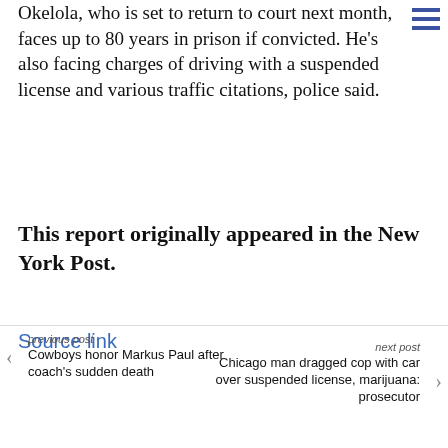Okelola, who is set to return to court next month, faces up to 80 years in prison if convicted. He's also facing charges of driving with a suspended license and various traffic citations, police said.
This report originally appeared in the New York Post.
Source link
previous post
Cowboys honor Markus Paul after coach's sudden death
next post
Chicago man dragged cop with car over suspended license, marijuana: prosecutor